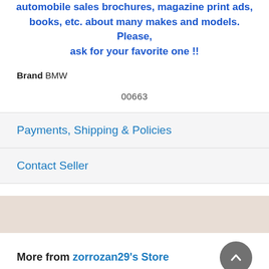automobile sales brochures, magazine print ads, books, etc. about many makes and models. Please, ask for your favorite one !!
Brand BMW
00663
Payments, Shipping & Policies
Contact Seller
More from zorrozan29's Store